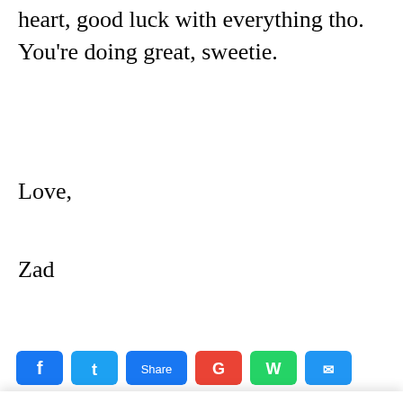heart, good luck with everything tho. You're doing great, sweetie.
Love,
Zad
[Figure (other): Row of social sharing icon buttons: Facebook (blue), Twitter (light blue), a share button (blue), Google/YouTube (red), WhatsApp (green), and another blue button, partially cropped at bottom]
We value your privacy
We use necessary cookies on our website to give you the most relevant experience by remembering your preferences and repeat visits. By clicking “Accept All”, you consent to the use of ALL the cookies. However, you may visit "Cookie Settings" to provide a controlled consent.
Cookie Settings
Accept and close